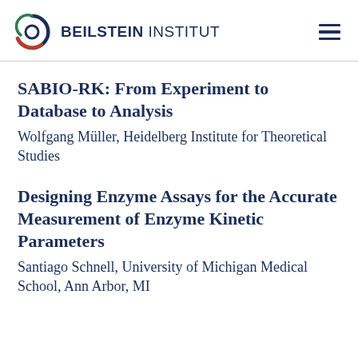[Figure (logo): Beilstein Institut logo with circular swirl in dark blue, red, and green, followed by text 'BEILSTEIN INSTITUT' in bold and regular weight sans-serif]
SABIO-RK: From Experiment to Database to Analysis
Wolfgang Müller, Heidelberg Institute for Theoretical Studies
Designing Enzyme Assays for the Accurate Measurement of Enzyme Kinetic Parameters
Santiago Schnell, University of Michigan Medical School, Ann Arbor, MI